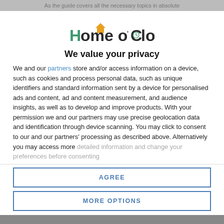As the guide covers all the necessary topics in absolute
[Figure (logo): Home o'Clock logo with orange roof icon and teal/green lettering]
We value your privacy
We and our partners store and/or access information on a device, such as cookies and process personal data, such as unique identifiers and standard information sent by a device for personalised ads and content, ad and content measurement, and audience insights, as well as to develop and improve products. With your permission we and our partners may use precise geolocation data and identification through device scanning. You may click to consent to our and our partners' processing as described above. Alternatively you may access more detailed information and change your preferences before consenting
AGREE
MORE OPTIONS